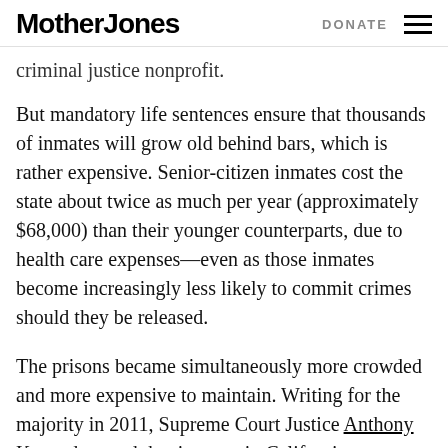Mother Jones | DONATE
criminal justice nonprofit.
But mandatory life sentences ensure that thousands of inmates will grow old behind bars, which is rather expensive. Senior-citizen inmates cost the state about twice as much per year (approximately $68,000) than their younger counterparts, due to health care expenses—even as those inmates become increasingly less likely to commit crimes should they be released.
The prisons became simultaneously more crowded and more expensive to maintain. Writing for the majority in 2011, Supreme Court Justice Anthony Kennedy noted that inmates in California were